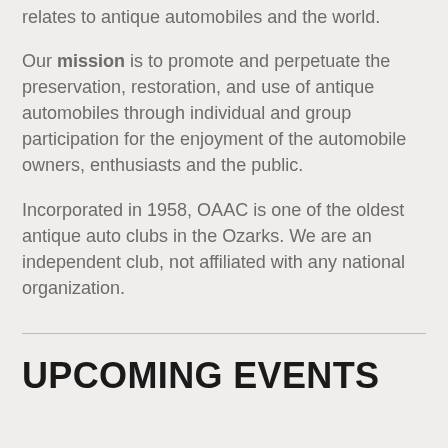relates to antique automobiles and the world.
Our mission is to promote and perpetuate the preservation, restoration, and use of antique automobiles through individual and group participation for the enjoyment of the automobile owners, enthusiasts and the public.
Incorporated in 1958, OAAC is one of the oldest antique auto clubs in the Ozarks. We are an independent club, not affiliated with any national organization.
UPCOMING EVENTS